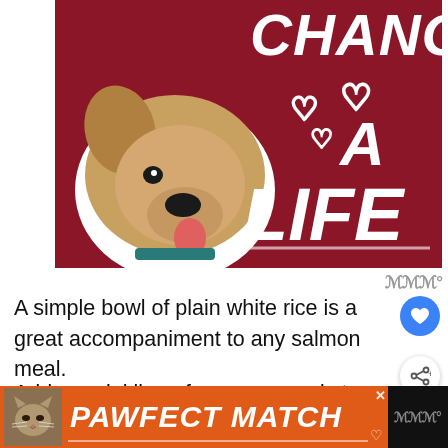[Figure (illustration): Red background advertisement with a golden/tan dog (pit bull mix) smiling, white heart outlines, and bold italic white text reading 'CHANGE A LIFE']
A simple bowl of plain white rice is a great accompaniment to any salmon meal.
Add a sprinkling of sesame seeds to the cooked rice before serving to jazz up its fl...
[Figure (illustration): Orange advertisement banner with a cat photo and bold italic white text reading 'PAWFECT MATCH']